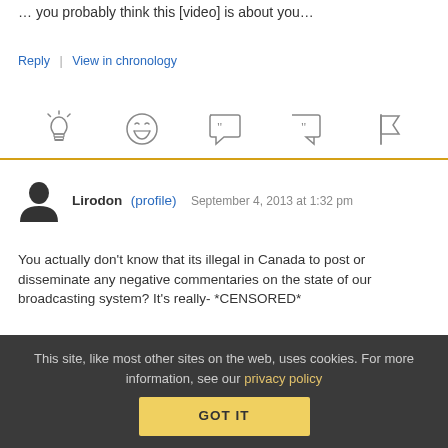… you probably think this [video] is about you…
Reply | View in chronology
[Figure (other): Row of interactive icons: lightbulb, laughing emoji, opening quote bubble, closing quote bubble, flag]
Lirodon (profile)  September 4, 2013 at 1:32 pm
You actually don't know that its illegal in Canada to post or disseminate any negative commentaries on the state of our broadcasting system? It's really- *CENSORED*
This site, like most other sites on the web, uses cookies. For more information, see our privacy policy  GOT IT